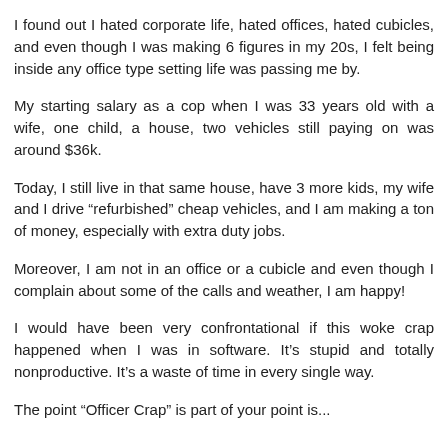I found out I hated corporate life, hated offices, hated cubicles, and even though I was making 6 figures in my 20s, I felt being inside any office type setting life was passing me by.
My starting salary as a cop when I was 33 years old with a wife, one child, a house, two vehicles still paying on was around $36k.
Today, I still live in that same house, have 3 more kids, my wife and I drive “refurbished” cheap vehicles, and I am making a ton of money, especially with extra duty jobs.
Moreover, I am not in an office or a cubicle and even though I complain about some of the calls and weather, I am happy!
I would have been very confrontational if this woke crap happened when I was in software. It’s stupid and totally nonproductive. It’s a waste of time in every single way.
The point “Officer Crap” is part of your point is...